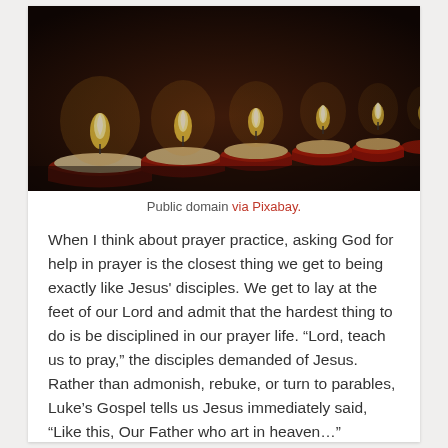[Figure (photo): A row of red tea light candles burning against a dark background, photographed in close-up with a shallow depth of field.]
Public domain via Pixabay.
When I think about prayer practice, asking God for help in prayer is the closest thing we get to being exactly like Jesus’ disciples. We get to lay at the feet of our Lord and admit that the hardest thing to do is be disciplined in our prayer life. “Lord, teach us to pray,” the disciples demanded of Jesus. Rather than admonish, rebuke, or turn to parables, Luke’s Gospel tells us Jesus immediately said, “Like this, Our Father who art in heaven…”